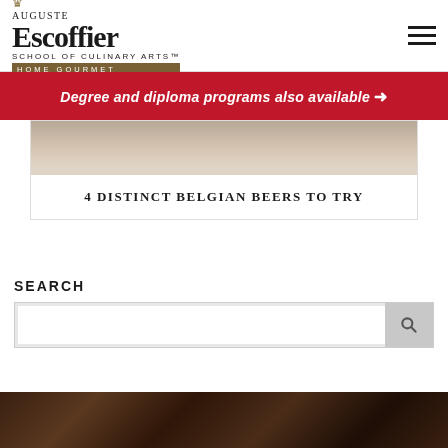[Figure (logo): Auguste Escoffier School of Culinary Arts Home Gourmet logo with crown and hamburger menu icon]
Degree and diploma programs also available →
[Figure (photo): Photo of Belgian beers at top of article card]
4 DISTINCT BELGIAN BEERS TO TRY
SEARCH
[Figure (photo): Partial photo visible at bottom of page, dark tones showing a person in culinary setting]